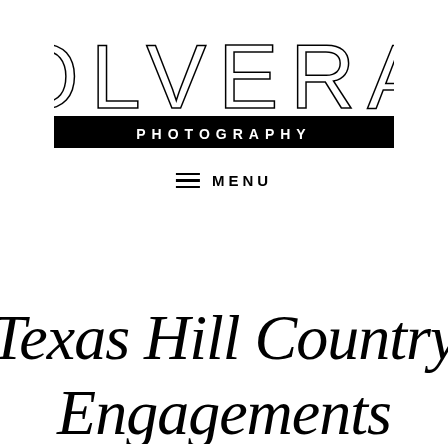[Figure (logo): Olvera Photography logo: large thin-weight 'OLVERA' text above a black bar with white 'PHOTOGRAPHY' text in spaced caps]
≡ MENU
Texas Hill Country